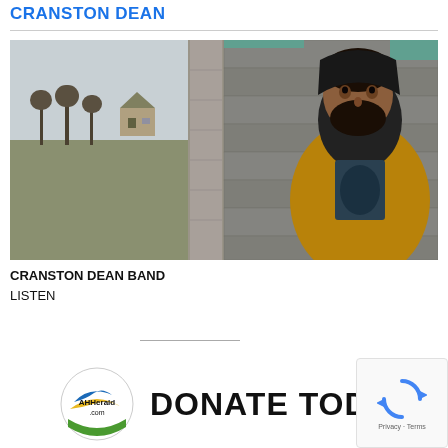CRANSTON DEAN
[Figure (photo): Split composite photo: left half shows an open field with bare trees and a house in the background under an overcast sky; right half shows a bearded man wearing a black hoodie under a tan jacket, leaning against a concrete block wall.]
CRANSTON DEAN BAND
LISTEN
[Figure (logo): AHHerald.com circular logo with a stylized bird/swoosh icon and yellow/green/blue colors]
DONATE TODAY
[Figure (other): reCAPTCHA widget box showing rotating arrows icon with Privacy - Terms text below]